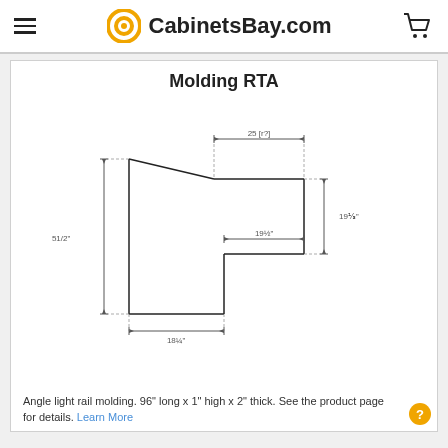CabinetsBay.com
Molding RTA
[Figure (engineering-diagram): Technical drawing of an angle light rail molding piece shown in profile view with dimension annotations: 25 [r?] width at top, 19-1/4? height on right side, 19-1/2? horizontal step dimension, 51/2? left height, 18-1/4? bottom width]
Angle light rail molding. 96" long x 1" high x 2" thick. See the product page for details. Learn More